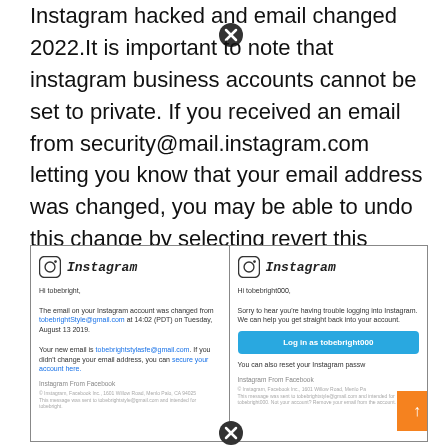Instagram hacked and email changed 2022.It is important to note that instagram business accounts cannot be set to private. If you received an email from security@mail.instagram.com letting you know that your email address was changed, you may be able to undo this change by selecting revert this change in that message.
[Figure (screenshot): Two Instagram email screenshots side by side. Left: email notifying tobebright that email was changed from tobebrightStyle@gmail.com. Right: email to tobebright000 offering to log back in with a blue button 'Log in as tobebright000' and an orange back-to-top button.]